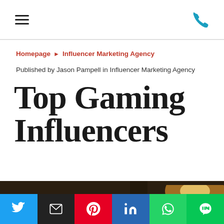Navigation bar with hamburger menu and phone icon
Homepage › Influencer Marketing Agency
Published by Jason Pampell in Influencer Marketing Agency
Top Gaming Influencers
[Figure (photo): Gaming tournament/LAN party room with gamers at computer stations, dark ambient lighting, green gaming chairs visible on the right side. An 'H' logo overlay appears in the top-left corner. A circular play button is visible on the right side.]
Social share buttons: Twitter, Email, Pinterest, LinkedIn, WhatsApp, LINE